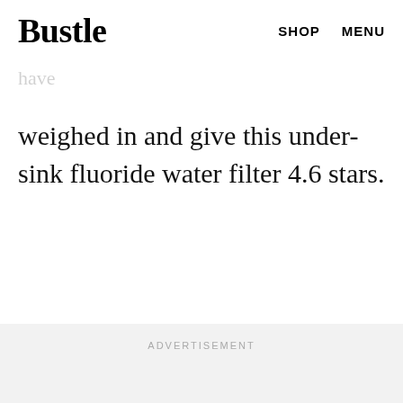Bustle  SHOP  MENU
documents built up if you think it's due to be changed. More than 2,000 Amazon reviewers have
weighed in and give this under-sink fluoride water filter 4.6 stars.
ADVERTISEMENT